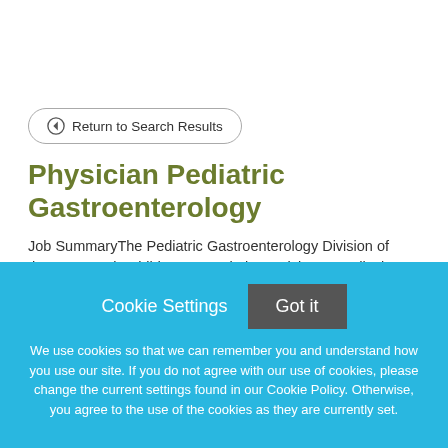Return to Search Results
Physician Pediatric Gastroenterology
Job SummaryThe Pediatric Gastroenterology Division of the Janet Weis Children's Hospital at Geisinger Medical
Cookie Settings  Got it
We use cookies so that we can remember you and understand how you use our site. If you do not agree with our use of cookies, please change the current settings found in our Cookie Policy. Otherwise, you agree to the use of the cookies as they are currently set.